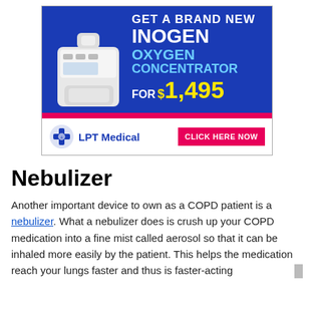[Figure (advertisement): LPT Medical advertisement for a brand new Inogen Oxygen Concentrator for $1,495 with a 'Click Here Now' button. Features an image of the device on a blue background with pink accent bar.]
Nebulizer
Another important device to own as a COPD patient is a nebulizer. What a nebulizer does is crush up your COPD medication into a fine mist called aerosol so that it can be inhaled more easily by the patient. This helps the medication reach your lungs faster and thus is faster-acting than medication that is taken orally. You should be sure to...